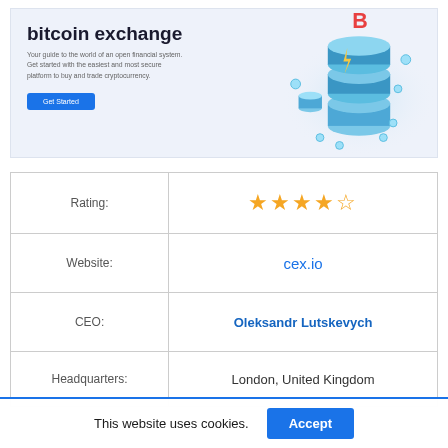bitcoin exchange
Your guide to the world of an open financial system. Get started with the easiest and most secure platform to buy and trade cryptocurrency.
[Figure (illustration): Isometric illustration of stacked blockchain/bitcoin nodes with a glowing bitcoin 'B' symbol on top and smaller crypto coin icons floating around blue cylindrical stack structures.]
| Field | Value |
| --- | --- |
| Rating: | ★★★★★ (4 out of 5 stars) |
| Website: | cex.io |
| CEO: | Oleksandr Lutskevych |
| Headquarters: | London, United Kingdom |
This website uses cookies.